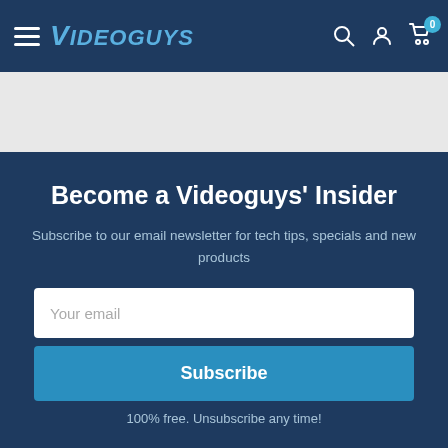VIDEOGUYS
Become a Videoguys' Insider
Subscribe to our email newsletter for tech tips, specials and new products
Your email
Subscribe
100% free. Unsubscribe any time!